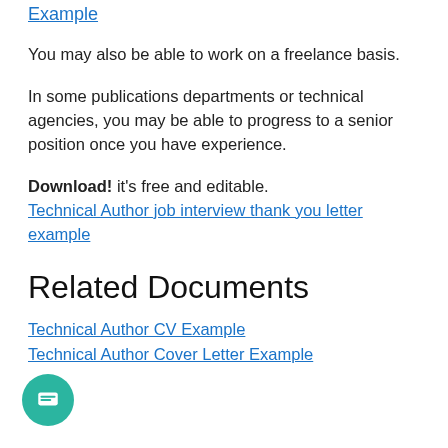Example
You may also be able to work on a freelance basis.
In some publications departments or technical agencies, you may be able to progress to a senior position once you have experience.
Download! it's free and editable. Technical Author job interview thank you letter example
Related Documents
Technical Author CV Example
Technical Author Cover Letter Example